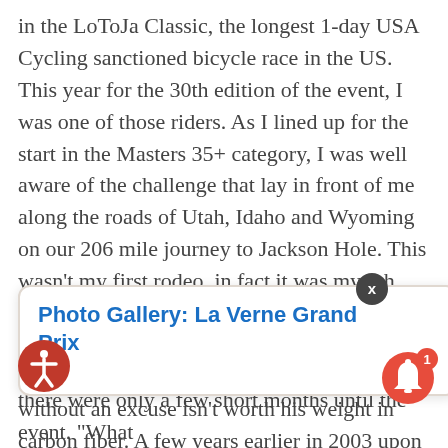in the LoToJa Classic, the longest 1-day USA Cycling sanctioned bicycle race in the US. This year for the 30th edition of the event, I was one of those riders. As I lined up for the start in the Masters 35+ category, I was well aware of the challenge that lay in front of me along the roads of Utah, Idaho and Wyoming on our 206 mile journey to Jackson Hole. This wasn't my first rodeo, in fact it was my 6th.

A little background is probably necessary, for as every experienced bike racer knows a rider without an excuse isn't worth his weight in carbon fiber. A few years earlier in 2003 upon returning from my 4th LoToJa I hung my bike in the garage to begin my yearly 2 week break from training. The two weeks past, but the bike didn't come down. The weeks turned to months, then months to years. Nearly seven [...]ike down to [...] and the tim[...] ned right. "Ok, I thought, "I need a goal." LoToJa. Bu[...] there were only a few short months until the event. "What
Photo Gallery: La Verne Grand Prix